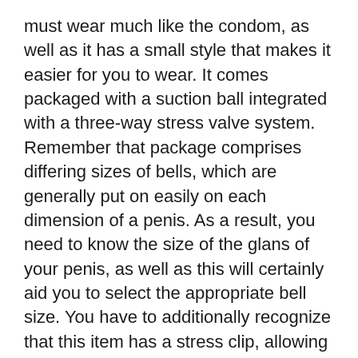must wear much like the condom, as well as it has a small style that makes it easier for you to wear. It comes packaged with a suction ball integrated with a three-way stress valve system. Remember that package comprises differing sizes of bells, which are generally put on easily on each dimension of a penis. As a result, you need to know the size of the glans of your penis, as well as this will certainly aid you to select the appropriate bell size. You have to additionally recognize that this item has a stress clip, allowing you to use a simple pull to improve pressure. And also it features a guard cap to shield the glans against excess pressure.
How To Enjoy My Boyfriend's Small Penis